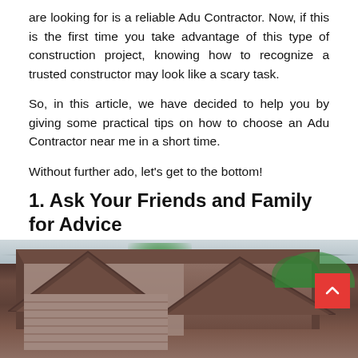are looking for is a reliable Adu Contractor. Now, if this is the first time you take advantage of this type of construction project, knowing how to recognize a trusted constructor may look like a scary task.
So, in this article, we have decided to help you by giving some practical tips on how to choose an Adu Contractor near me in a short time.
Without further ado, let's get to the bottom!
1. Ask Your Friends and Family for Advice
If you know someone Adu Contractor who has just built an additional residence unit, ask them about their experiences. They must be able to give you quality recommendations or at least tell you a company where you have to stay away-both are valuable insights for beginners like you.
[Figure (photo): Photograph of a house under construction showing wooden framing and roof structure, with palm trees in the background. A red scroll-to-top button is visible in the lower right.]